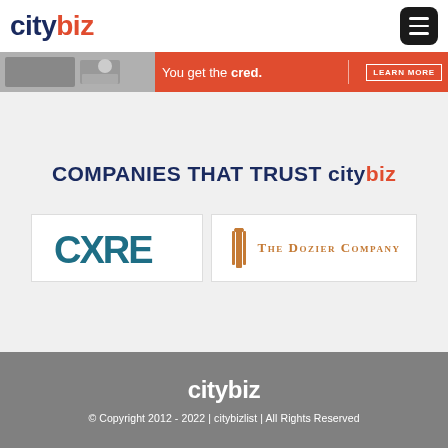citybiz
[Figure (infographic): Red banner advertisement with photo strip on left showing laptop and person. Text reads 'You get the cred.' with LEARN MORE button on right.]
COMPANIES THAT TRUST citybiz
[Figure (logo): CXRE company logo in teal/dark cyan color]
[Figure (logo): The Dozier Company logo with orange column icon and company name]
citybiz © Copyright 2012 - 2022 | citybizlist | All Rights Reserved